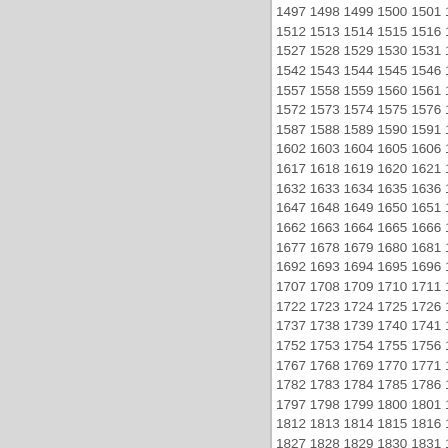1497 1498 1499 1500 1501 1502 ... 1512 1513 1514 1515 1516 1517 ... 1527 1528 1529 1530 1531 1532 ... 1542 1543 1544 1545 1546 1547 ... 1557 1558 1559 1560 1561 1562 ... 1572 1573 1574 1575 1576 1577 ... 1587 1588 1589 1590 1591 1592 ... 1602 1603 1604 1605 1606 1607 ... 1617 1618 1619 1620 1621 1622 ... 1632 1633 1634 1635 1636 1637 ... 1647 1648 1649 1650 1651 1652 ... 1662 1663 1664 1665 1666 1667 ... 1677 1678 1679 1680 1681 1682 ... 1692 1693 1694 1695 1696 1697 ... 1707 1708 1709 1710 1711 1712 ... 1722 1723 1724 1725 1726 1727 ... 1737 1738 1739 1740 1741 1742 ... 1752 1753 1754 1755 1756 1757 ... 1767 1768 1769 1770 1771 1772 ... 1782 1783 1784 1785 1786 1787 ... 1797 1798 1799 1800 1801 1802 ... 1812 1813 1814 1815 1816 1817 ... 1827 1828 1829 1830 1831 1832 ... 1842 1843 1844 1845 1846 1847 ... 1857 1858 1859 1860 1861 1862 ... 1872 1873 1874 1875 1876 1877 ...